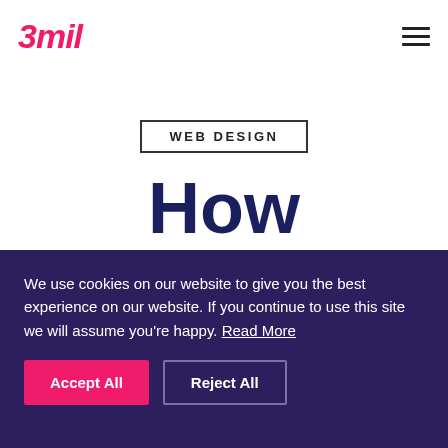3mil
WEB DESIGN
How Typography
We use cookies on our website to give you the best experience on our website. If you continue to use this site we will assume you're happy. Read More
Accept All | Reject All